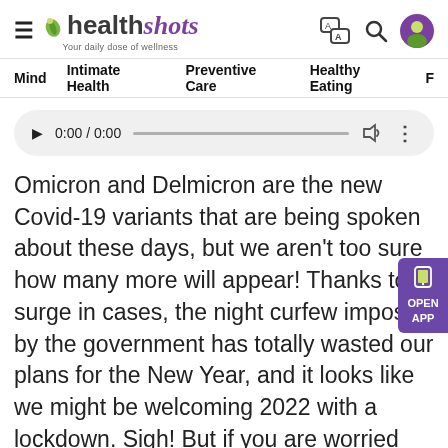[Figure (logo): Healthshots logo with tagline 'Your daily dose of wellness' and navigation icons]
Mind   Intimate Health   Preventive Care   Healthy Eating   F
[Figure (screenshot): Audio player widget showing 0:00 / 0:00 with play button, progress bar, volume and more icons]
Omicron and Delmicron are the new Covid-19 variants that are being spoken about these days, but we aren't too sure how many more will appear! Thanks to a surge in cases, the night curfew imposed by the government has totally wasted our plans for the New Year, and it looks like we might be welcoming 2022 with a lockdown. Sigh! But if you are worried about what's going to happen to your "weight loss